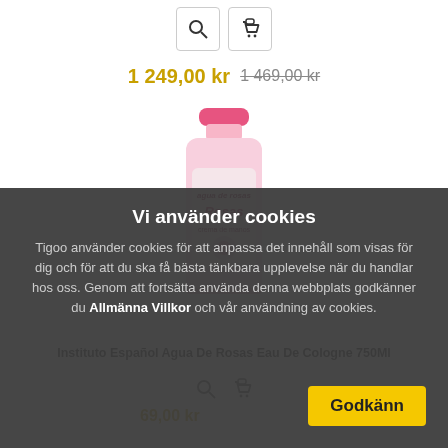[Figure (screenshot): E-commerce product page showing search and cart icon buttons at the top, a price display, and a product image of Instituto Español Agua De Rosas Eau De Cologne 750Ml bottle with a cookie consent overlay covering the lower portion.]
1 249,00 kr  1 469,00 kr
Instituto Español Agua De Rosas Eau De Cologne 750Ml
69,00 kr
Vi använder cookies
Tigoo använder cookies för att anpassa det innehåll som visas för dig och för att du ska få bästa tänkbara upplevelse när du handlar hos oss. Genom att fortsätta använda denna webbplats godkänner du Allmänna Villkor och vår användning av cookies.
Godkänn